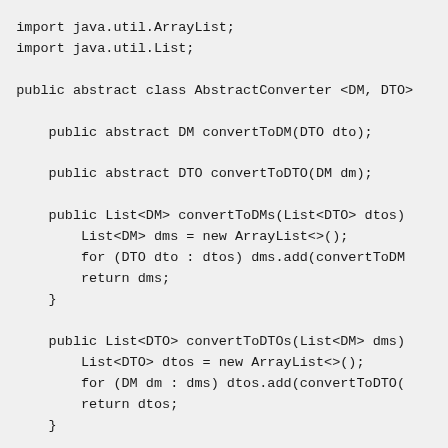import java.util.ArrayList;
import java.util.List;

public abstract class AbstractConverter <DM, DTO>

    public abstract DM convertToDM(DTO dto);

    public abstract DTO convertToDTO(DM dm);

    public List<DM> convertToDMs(List<DTO> dtos)
        List<DM> dms = new ArrayList<>();
        for (DTO dto : dtos) dms.add(convertToDM
        return dms;
    }

    public List<DTO> convertToDTOs(List<DM> dms)
        List<DTO> dtos = new ArrayList<>();
        for (DM dm : dms) dtos.add(convertToDTO(
        return dtos;
    }